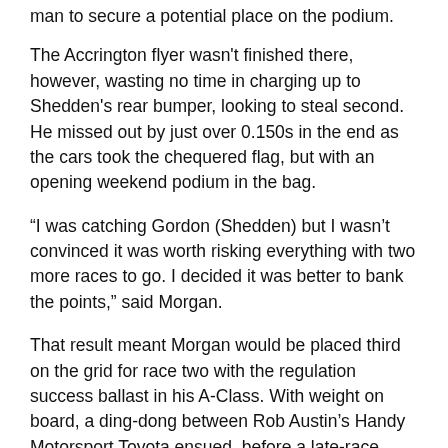man to secure a potential place on the podium.
The Accrington flyer wasn't finished there, however, wasting no time in charging up to Shedden's rear bumper, looking to steal second. He missed out by just over 0.150s in the end as the cars took the chequered flag, but with an opening weekend podium in the bag.
“I was catching Gordon (Shedden) but I wasn’t convinced it was worth risking everything with two more races to go. I decided it was better to bank the points,” said Morgan.
That result meant Morgan would be placed third on the grid for race two with the regulation success ballast in his A-Class. With weight on board, a ding-dong between Rob Austin’s Handy Motorsport Toyota ensued, before a late-race clash between Andrew Jordan’s BMW and Austin’s Avensis, just ahead of Morgan – allowing the Ciceley racer to nip through past the 125i M Sport. With Austin’s post-race exclusion, this would yield a net fourth for Morgan, who